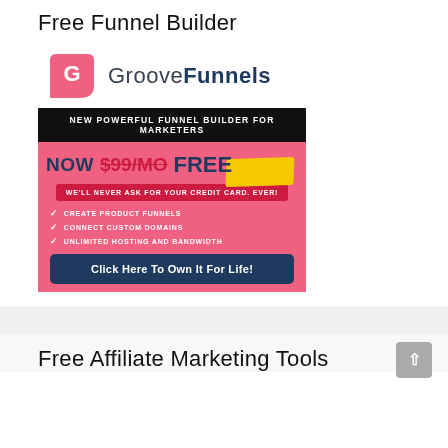Free Funnel Builder
[Figure (infographic): GrooveFunnels advertisement banner showing logo, 'New Powerful Funnel Builder For Marketers', 'NOW $99/MO FREE', 'We'll Never Ask For Your Credit Card. Ever!', checklist with Create Product Funnels, Connect Custom Domains, Unlimited Hosting and Bandwidth, and a 'Click Here To Own It For Life!' button]
Free Affiliate Marketing Tools